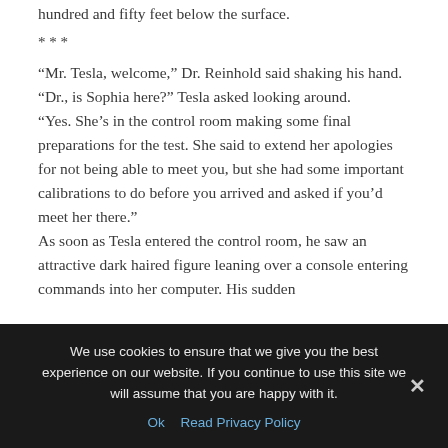hundred and fifty feet below the surface.
* * *
“Mr. Tesla, welcome,” Dr. Reinhold said shaking his hand. “Dr., is Sophia here?” Tesla asked looking around. “Yes. She’s in the control room making some final preparations for the test. She said to extend her apologies for not being able to meet you, but she had some important calibrations to do before you arrived and asked if you’d meet her there.” As soon as Tesla entered the control room, he saw an attractive dark haired figure leaning over a console entering commands into her computer. His sudden
We use cookies to ensure that we give you the best experience on our website. If you continue to use this site we will assume that you are happy with it.
Ok   Read Privacy Policy